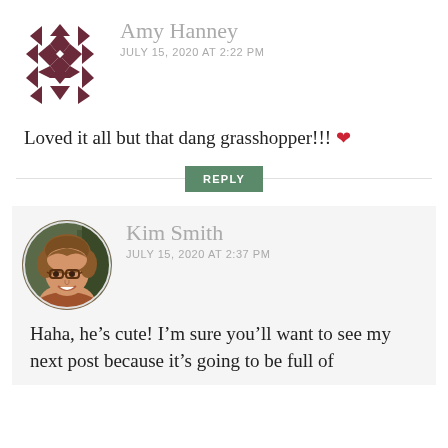[Figure (logo): Quilting pattern avatar icon in dark maroon/purple geometric diamond shapes]
Amy Hanney
JULY 15, 2020 AT 2:22 PM
Loved it all but that dang grasshopper!!! ❤
REPLY
[Figure (photo): Circular profile photo of Kim Smith, a woman with short brown hair and glasses, smiling]
Kim Smith
JULY 15, 2020 AT 2:37 PM
Haha, he's cute! I'm sure you'll want to see my next post because it's going to be full of